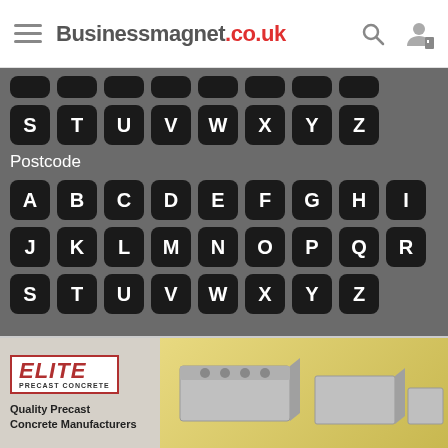Businessmagnet.co.uk
[Figure (screenshot): Alphabet navigation buttons (partial top row cut off) showing letters S T U V W X Y Z on black rounded square buttons]
Postcode
[Figure (screenshot): Alphabet navigation buttons A-I, J-R, S-Z on black rounded square buttons for postcode selection]
[Figure (other): Elite Precast Concrete advertisement banner showing logo and precast concrete block products]